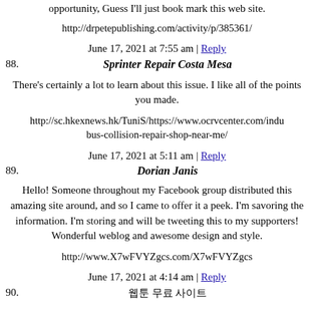opportunity, Guess I'll just book mark this web site.
http://drpetepublishing.com/activity/p/385361/
June 17, 2021 at 7:55 am | Reply
88. Sprinter Repair Costa Mesa
There's certainly a lot to learn about this issue. I like all of the points you made.
http://sc.hkexnews.hk/TuniS/https://www.ocrvcenter.com/indu bus-collision-repair-shop-near-me/
June 17, 2021 at 5:11 am | Reply
89. Dorian Janis
Hello! Someone throughout my Facebook group distributed this amazing site around, and so I came to offer it a peek. I'm savoring the information. I'm storing and will be tweeting this to my supporters! Wonderful weblog and awesome design and style.
http://www.X7wFVYZgcs.com/X7wFVYZgcs
June 17, 2021 at 4:14 am | Reply
90. 웹툰 무료 사이트